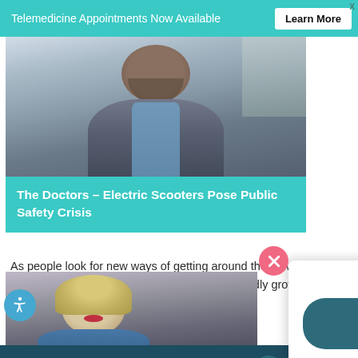Telemedicine Appointments Now Available   Learn More  X
[Figure (photo): Photo of a bearded middle-aged man in a grey blazer and blue shirt, seated outdoors, appears to be on a TV show set.]
The Doctors – Electric Scooters Pose Public Safety Crisis
As people look for new ways of getting around their town, the popularity of electric scooters has been rapidly growing but so has the danger.
[Figure (photo): Photo of a blonde woman looking downward, wearing red lipstick, appears to be on a TV show set.]
What brings you here today?
CHAT LIVE NOW
VIEW PATIENT RESULTS